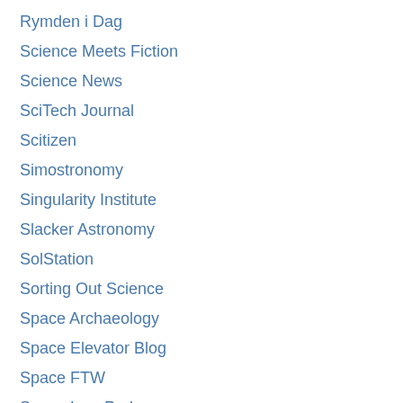Rymden i Dag
Science Meets Fiction
Science News
SciTech Journal
Scitizen
Simostronomy
Singularity Institute
Slacker Astronomy
SolStation
Sorting Out Science
Space Archaeology
Space Elevator Blog
Space FTW
Space Law Probe
Space Pragmatism